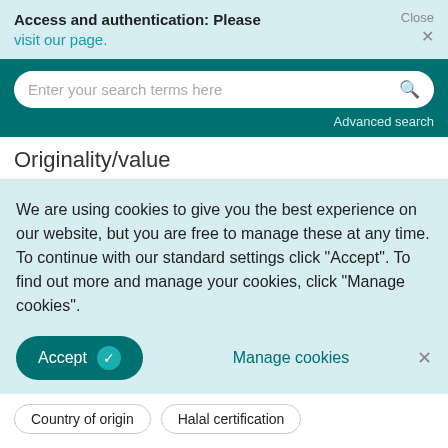Access and authentication: Please visit our page.  Close ×
Enter your search terms here  Advanced search
Originality/value
We are using cookies to give you the best experience on our website, but you are free to manage these at any time. To continue with our standard settings click "Accept". To find out more and manage your cookies, click "Manage cookies".
Accept  Manage cookies  ×
Country of origin   Halal certification